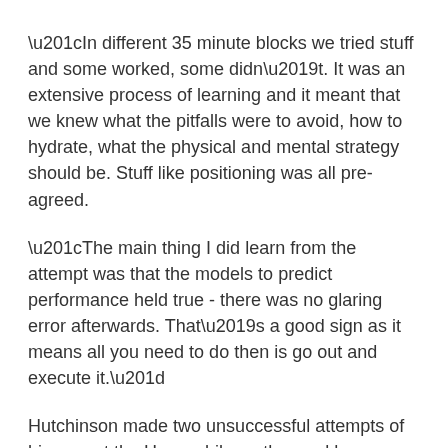“In different 35 minute blocks we tried stuff and some worked, some didn’t. It was an extensive process of learning and it meant that we knew what the pitfalls were to avoid, how to hydrate, what the physical and mental strategy should be. Stuff like positioning was all pre-agreed.
“The main thing I did learn from the attempt was that the models to predict performance held true - there was no glaring error afterwards. That’s a good sign as it means all you need to do then is go out and execute it.”
Hutchinson made two unsuccessful attempts of his own at the Hour, while on the road he won more Cycling Time Trials titles than any other man in history. He therefore has